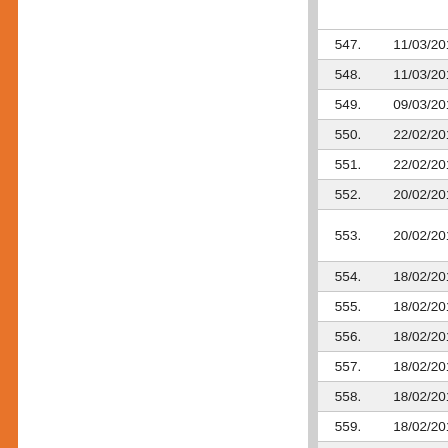| # | Date | Description |
| --- | --- | --- |
|  |  | HEATING A... |
| 547. | 11/03/2017 | Invitation fo... |
| 548. | 11/03/2017 | Invitationle... |
| 549. | 09/03/2017 | Tender for... |
| 550. | 22/02/2017 | MBA 3rd Ye... |
| 551. | 22/02/2017 | Revised N... |
| 552. | 20/02/2017 | Appointme... |
| 553. | 20/02/2017 | 39th Panja... / Birth Anniv... |
| 554. | 18/02/2017 | Attendance... |
| 555. | 18/02/2017 | Attendance... |
| 556. | 18/02/2017 | Attendance... |
| 557. | 18/02/2017 | Attendance... |
| 558. | 18/02/2017 | Attendance... |
| 559. | 18/02/2017 | Attendance... |
| 560. | 18/02/2017 | Attendance... |
| 561. | 18/02/2017 | Attendance... |
| 562. | 31/01/2017 | Invitation fo... |